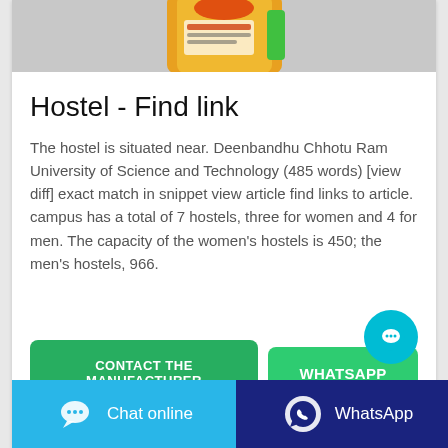[Figure (photo): Product image showing orange/yellow packaging against grey background]
Hostel - Find link
The hostel is situated near. Deenbandhu Chhotu Ram University of Science and Technology (485 words) [view diff] exact match in snippet view article find links to article. campus has a total of 7 hostels, three for women and 4 for men. The capacity of the women's hostels is 450; the men's hostels, 966.
CONTACT THE MANUFACTURER
WHATSAPP
Chat online
WhatsApp